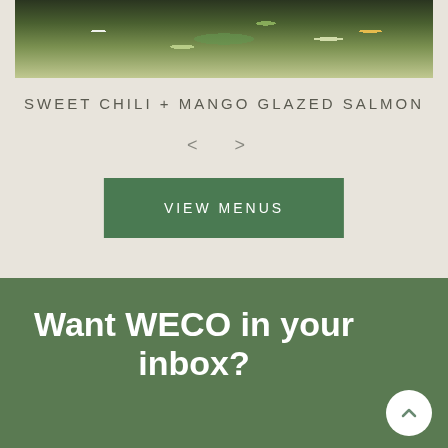[Figure (photo): Top portion of a salmon dish with green vegetables and rice on a dark plate, partially cropped at top]
SWEET CHILI + MANGO GLAZED SALMON
< >
VIEW MENUS
Want WECO in your inbox?